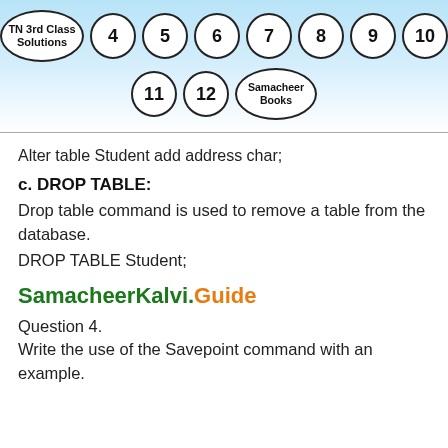TN 3rd Class Solutions | 4 | 5 | 6 | 7 | 8 | 9 | 10 | 11 | 12 | Samacheer Books
Alter table Student add address char;
c. DROP TABLE:
Drop table command is used to remove a table from the database.
DROP TABLE Student;
SamacheerKalvi.Guide
Question 4.
Write the use of the Savepoint command with an example.